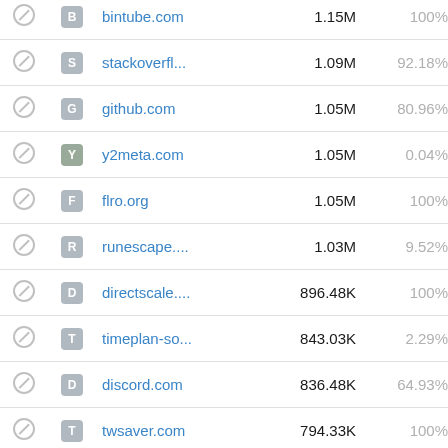|  |  | Domain | Visits | % | Extra |
| --- | --- | --- | --- | --- | --- |
|  | B | bintube.com | 1.15M | 100% | 1. |
|  | S | stackoverfl... | 1.09M | 92.18% |  |
|  | G | github.com | 1.05M | 80.96% | 853. |
|  | Y | y2meta.com | 1.05M | 0.04% |  |
|  | F | flro.org | 1.05M | 100% | 1.0 |
|  | R | runescape.... | 1.03M | 9.52% | 97. |
|  | D | directscale.... | 896.48K | 100% | 896. |
|  | T | timeplan-so... | 843.03K | 2.29% | 19 |
|  | D | discord.com | 836.48K | 64.93% | 543. |
|  | T | twsaver.com | 794.33K | 100% | 794. |
|  | A | app.link | 765.13K | 0.03% |  |